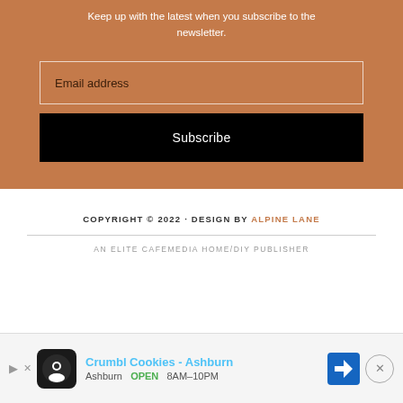Keep up with the latest when you subscribe to the newsletter.
Email address
Subscribe
COPYRIGHT © 2022 · DESIGN BY ALPINE LANE
AN ELITE CAFEMEDIA HOME/DIY PUBLISHER
[Figure (other): Advertisement banner for Crumbl Cookies - Ashburn with navigation directions icon. Shows store name, open status, and hours 8AM-10PM.]